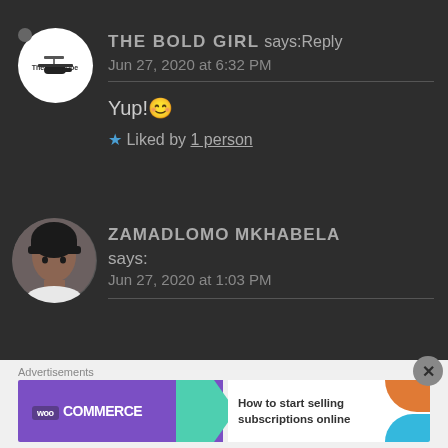THE BOLD GIRL says: Reply
Jun 27, 2020 at 6:32 PM
Yup!😊
★ Liked by 1 person
ZAMADLOMO MKHABELA says:
Jun 27, 2020 at 1:03 PM
Advertisements
[Figure (screenshot): WooCommerce advertisement banner: purple WooCommerce logo with teal arrow shape, text reading 'How to start selling subscriptions online', orange and blue decorative shapes on the right.]